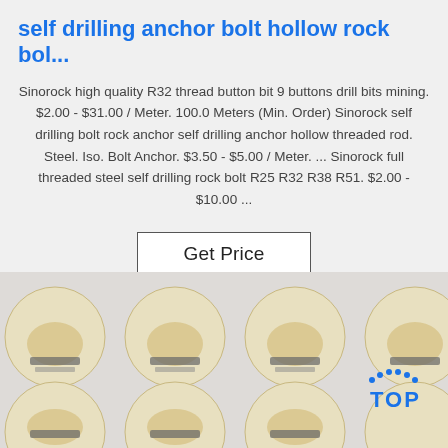self drilling anchor bolt hollow rock bol...
Sinorock high quality R32 thread button bit 9 buttons drill bits mining. $2.00 - $31.00 / Meter. 100.0 Meters (Min. Order) Sinorock self drilling bolt rock anchor self drilling anchor hollow threaded rod. Steel. Iso. Bolt Anchor. $3.50 - $5.00 / Meter. ... Sinorock full threaded steel self drilling rock bolt R25 R32 R38 R51. $2.00 - $10.00 ...
[Figure (photo): Photo showing circular labeled discs (round stickers/labels) arranged in a grid pattern on a white surface, with a blue 'TOP' logo visible in the lower right corner.]